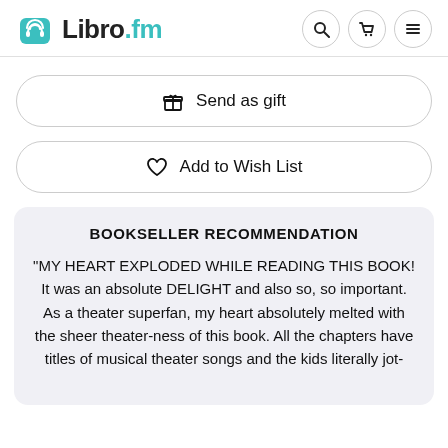Libro.fm
Send as gift
Add to Wish List
BOOKSELLER RECOMMENDATION
“MY HEART EXPLODED WHILE READING THIS BOOK! It was an absolute DELIGHT and also so, so important. As a theater superfan, my heart absolutely melted with the sheer theater-ness of this book. All the chapters have titles of musical theater songs and the kids literally jot-